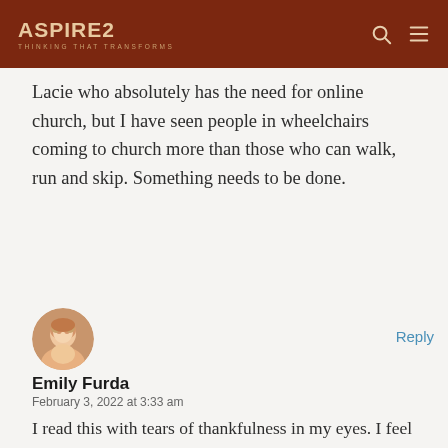ASPIRE2 THINKING THAT TRANSFORMS
Lacie who absolutely has the need for online church, but I have seen people in wheelchairs coming to church more than those who can walk, run and skip. Something needs to be done.
[Figure (photo): Circular avatar photo of Emily Furda, a woman with light skin and light hair]
Reply
Emily Furda
February 3, 2022 at 3:33 am
I read this with tears of thankfulness in my eyes. I feel seen. It’s also rather timely. February is Rare Disease Month. To Lacie, thank you & to you, Sandra, thank you!